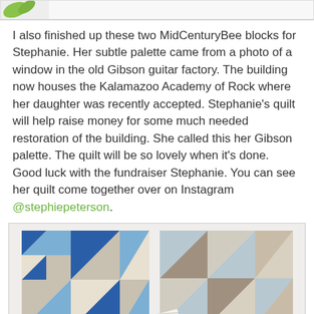[Figure (photo): Top cropped image showing green leaves against a light background]
I also finished up these two MidCenturyBee blocks for Stephanie. Her subtle palette came from a photo of a window in the old Gibson guitar factory. The building now houses the Kalamazoo Academy of Rock where her daughter was recently accepted. Stephanie's quilt will help raise money for some much needed restoration of the building. She called this her Gibson palette. The quilt will be so lovely when it's done. Good luck with the fundraiser Stephanie. You can see her quilt come together over on Instagram @stephiepeterson.
[Figure (photo): Two MidCenturyBee quilt blocks photographed side by side. Left block uses blue, navy, and cream triangles in a pinwheel geometric pattern. Right block uses muted gray, tan, and light blue triangles in a similar geometric pattern. A small handwritten label tag is visible near the bottom center.]